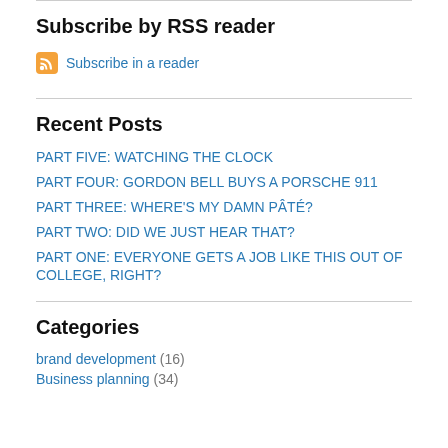Subscribe by RSS reader
Subscribe in a reader
Recent Posts
PART FIVE: WATCHING THE CLOCK
PART FOUR: GORDON BELL BUYS A PORSCHE 911
PART THREE: WHERE'S MY DAMN PÂTÉ?
PART TWO: DID WE JUST HEAR THAT?
PART ONE: EVERYONE GETS A JOB LIKE THIS OUT OF COLLEGE, RIGHT?
Categories
brand development (16)
Business planning (34)